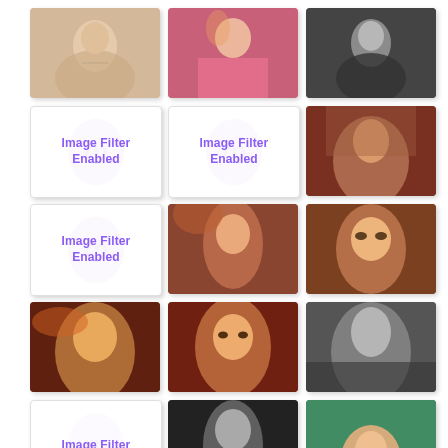[Figure (photo): Woman in white lingerie, soft light portrait]
[Figure (photo): Woman in pink dress with tattoo, arms raised]
[Figure (photo): Black and white portrait of woman with dark hair]
[Figure (other): Image Filter Enabled placeholder with watermark]
[Figure (other): Image Filter Enabled placeholder with watermark]
[Figure (photo): Woman with long red/auburn hair, purple tones]
[Figure (other): Image Filter Enabled placeholder with watermark]
[Figure (photo): Woman with auburn hair, eyes closed, looking down]
[Figure (photo): Woman with orange hair close-up face portrait]
[Figure (photo): Woman with red hair wearing straw hat, floral outfit]
[Figure (photo): Woman with auburn hair close-up face, brown eyes]
[Figure (photo): Black and white artistic nude silhouette]
[Figure (other): Image Filter Enabled partial placeholder]
[Figure (photo): Black and white portrait woman with hands near face]
[Figure (photo): Woman in teal/turquoise outfit outdoors among flowers]